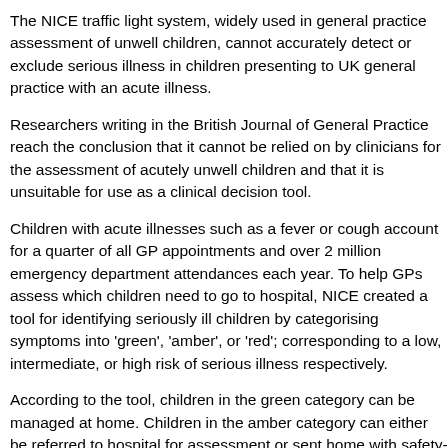The NICE traffic light system, widely used in general practice assessment of unwell children, cannot accurately detect or exclude serious illness in children presenting to UK general practice with an acute illness.
Researchers writing in the British Journal of General Practice reach the conclusion that it cannot be relied on by clinicians for the assessment of acutely unwell children and that it is unsuitable for use as a clinical decision tool.
Children with acute illnesses such as a fever or cough account for a quarter of all GP appointments and over 2 million emergency department attendances each year. To help GPs assess which children need to go to hospital, NICE created a tool for identifying seriously ill children by categorising symptoms into 'green', 'amber', or 'red'; corresponding to a low, intermediate, or high risk of serious illness respectively.
According to the tool, children in the green category can be managed at home. Children in the amber category can either be referred to hospital for assessment or sent home with safety-net advice. Children in the red category should be referred urgently for assessment in hospital.
The study looked at the data from over 6,700 children who saw a GP with an acute illness to see whether their 'traffic light' category matched the severity of their illness.